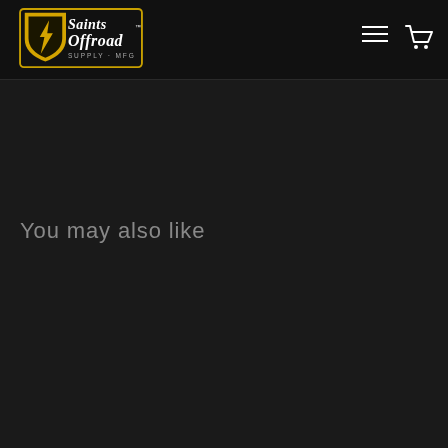[Figure (logo): Saints Offroad Supply + MFG logo — yellow/gold shield with lightning bolt, gothic blackletter text]
You may also like